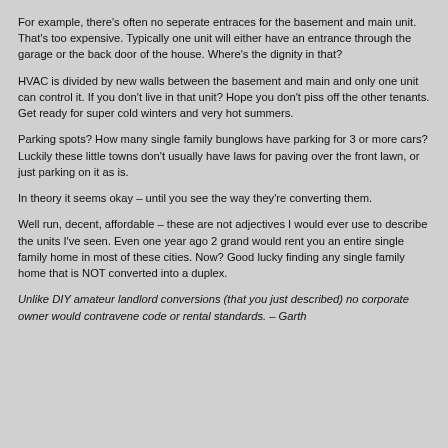For example, there's often no seperate entraces for the basement and main unit. That's too expensive. Typically one unit will either have an entrance through the garage or the back door of the house. Where's the dignity in that?
HVAC is divided by new walls between the basement and main and only one unit can control it. If you don't live in that unit? Hope you don't piss off the other tenants. Get ready for super cold winters and very hot summers.
Parking spots? How many single family bunglows have parking for 3 or more cars? Luckily these little towns don't usually have laws for paving over the front lawn, or just parking on it as is.
In theory it seems okay – until you see the way they're converting them.
Well run, decent, affordable – these are not adjectives I would ever use to describe the units I've seen. Even one year ago 2 grand would rent you an entire single family home in most of these cities. Now? Good lucky finding any single family home that is NOT converted into a duplex.
Unlike DIY amateur landlord conversions (that you just described) no corporate owner would contravene code or rental standards. – Garth